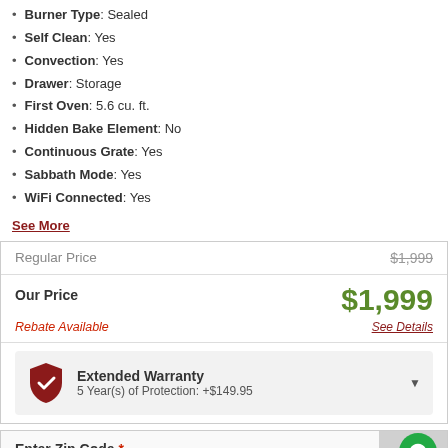Burner Type: Sealed
Self Clean: Yes
Convection: Yes
Drawer: Storage
First Oven: 5.6 cu. ft.
Hidden Bake Element: No
Continuous Grate: Yes
Sabbath Mode: Yes
WiFi Connected: Yes
See More
| Label | Value |
| --- | --- |
| Regular Price | $1,999 |
| Our Price | $1,999 |
| Rebate Available | See Details |
| Extended Warranty | 5 Year(s) of Protection: +$149.95 |
Enter Zip Code * For delivery options and item availability.